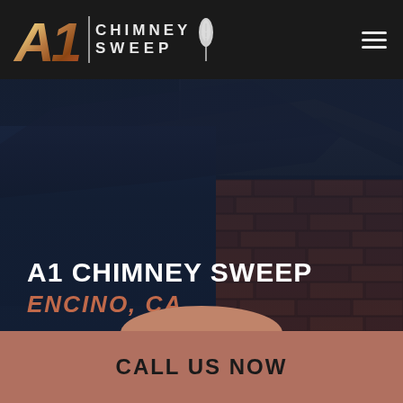[Figure (screenshot): A1 Chimney Sweep website screenshot showing header with logo, hero section with chimney/brick background image, main title text, and call-to-action bar]
A1 CHIMNEY SWEEP
A1 CHIMNEY SWEEP
ENCINO, CA
Proudly Providing the Encino Area With Quality Chimney, Fireplace & Vent Services.
CALL US NOW